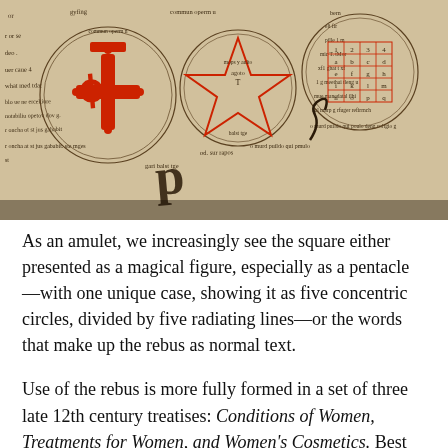[Figure (photo): A photograph of a historical manuscript page showing magical/alchemical drawings including pentacles, circular diagrams with symbols (including a red cross symbol, a pentagram star, and a grid square), surrounded by handwritten text in Latin or similar historical script.]
As an amulet, we increasingly see the square either presented as a magical figure, especially as a pentacle—with one unique case, showing it as five concentric circles, divided by five radiating lines—or the words that make up the rebus as normal text.
Use of the rebus is more fully formed in a set of three late 12th century treatises: Conditions of Women, Treatments for Women, and Women's Cosmetics. Best known as the Trotula, it's one of